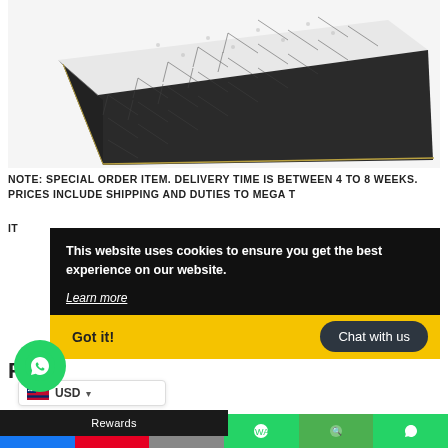[Figure (photo): Close-up photo of a mattress with white quilted top and dark grey/charcoal diamond-patterned sides, shown at an angle against a white background.]
NOTE: SPECIAL ORDER ITEM. DELIVERY TIME IS BETWEEN 4 TO 8 WEEKS.
PRICES INCLUDE SHIPPING AND DUTIES TO MEGA T[RINIDAD - partially obscured]
IT[EM - partially obscured]
[Figure (screenshot): Cookie consent banner overlay: black background with text 'This website uses cookies to ensure you get the best experience on our website.' and a 'Learn more' link, followed by a yellow bar with 'Got it!' button and a dark rounded 'Chat with us' button.]
[Figure (other): WhatsApp chat bubble icon (green circle with white phone/speech bubble logo).]
F[ree Shipping - partially visible]
USD [currency selector with US flag]
Rewards